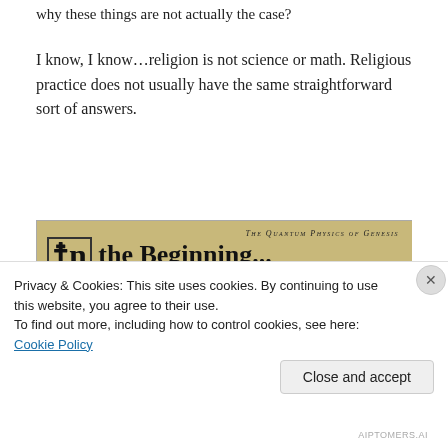why these things are not actually the case?
I know, I know…religion is not science or math. Religious practice does not usually have the same straightforward sort of answers.
[Figure (illustration): Book cover titled 'In the Beginning...' with subtitle 'The Quantum Physics of Genesis', showing a decorated letter I and four image panels at the bottom on a tan/parchment background.]
Privacy & Cookies: This site uses cookies. By continuing to use this website, you agree to their use.
To find out more, including how to control cookies, see here: Cookie Policy